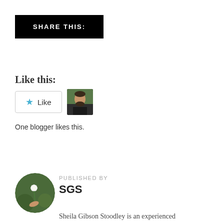SHARE THIS:
Like this:
[Figure (other): Like button widget with blue star icon and a small avatar thumbnail of a bearded man]
One blogger likes this.
[Figure (photo): Circular author avatar photo showing a hand holding a white flower against a green bokeh background]
PUBLISHED BY
SGS
Sheila Gibson Stoodley is an experienced